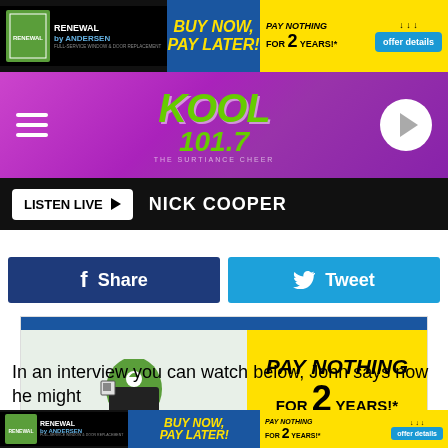[Figure (other): Renewal by Andersen top banner ad: BUY NOW, PAY LATER! PAY NOTHING FOR 2 YEARS! with offer details button]
[Figure (logo): KOOL 101.7 radio station header with hamburger menu and play button]
LISTEN LIVE ▶  NICK COOPER
[Figure (other): Facebook Share button and Twitter Tweet button]
[Figure (other): Renewal by Andersen main advertisement: PAY NOTHING FOR 2 YEARS! offer details]
In an interview you can watch below, John says now he might
[Figure (other): Renewal by Andersen bottom banner ad: BUY NOW, PAY LATER! PAY NOTHING FOR 2 YEARS! with offer details button]